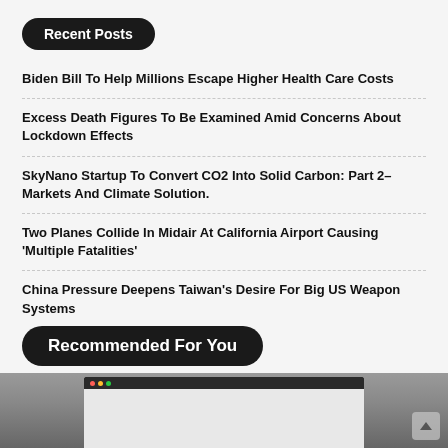Recent Posts
Biden Bill To Help Millions Escape Higher Health Care Costs
Excess Death Figures To Be Examined Amid Concerns About Lockdown Effects
SkyNano Startup To Convert CO2 Into Solid Carbon: Part 2– Markets And Climate Solution.
Two Planes Collide In Midair At California Airport Causing 'Multiple Fatalities'
China Pressure Deepens Taiwan's Desire For Big US Weapon Systems
Recommended For You
[Figure (screenshot): Laptop/computer screen screenshot at the bottom of the page]